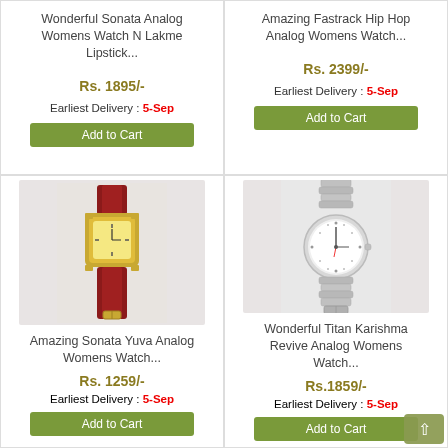Wonderful Sonata Analog Womens Watch N Lakme Lipstick...
Rs. 1895/-
Earliest Delivery : 5-Sep
Add to Cart
Amazing Fastrack Hip Hop Analog Womens Watch...
Rs. 2399/-
Earliest Delivery : 5-Sep
Add to Cart
[Figure (photo): Amazing Sonata Yuva Analog Womens Watch - dark red leather strap with gold square case]
Amazing Sonata Yuva Analog Womens Watch...
Rs. 1259/-
Earliest Delivery : 5-Sep
Add to Cart
[Figure (photo): Wonderful Titan Karishma Revive Analog Womens Watch - silver metal bracelet with round white dial]
Wonderful Titan Karishma Revive Analog Womens Watch...
Rs.1859/-
Earliest Delivery : 5-Sep
Add to Cart